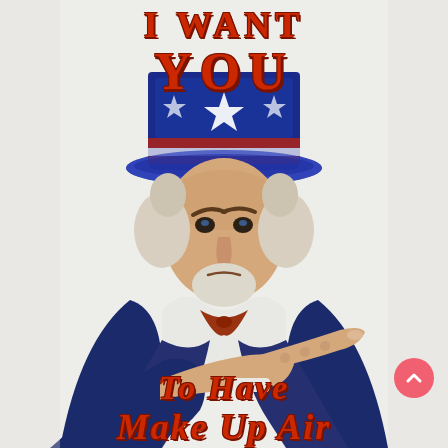I WANT YOU
[Figure (illustration): Uncle Sam pointing at viewer, wearing a patriotic top hat with stars and stripes, dark blue suit, red bow tie, white hair and beard, stern expression, pointing finger directed at viewer.]
To Have Make Up Air